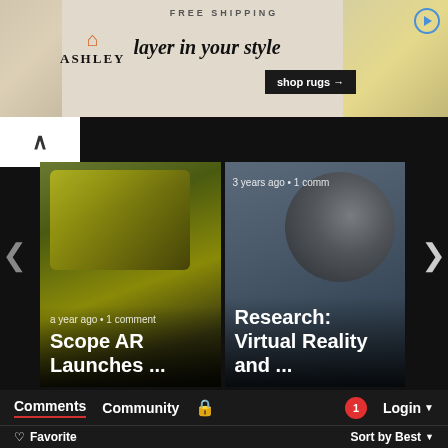[Figure (screenshot): Ashley Furniture ad banner: 'FREE SHIPPING', 'layer in your style', 'shop rugs' button, with rug imagery on left and right sides]
[Figure (screenshot): Carousel with two article cards. Left card: 'a year ago • 1 comment' / 'Scope AR Launches ...' with yellow generator image. Right card: '3 years ago • 1 comm' / 'Research: Virtual Reality and ...' with headphones image. Navigation arrows on left and right, up arrow top-left.]
Comments
Community
🔒
1
Login
♡ Favorite
Sort by Best
Start the discussion...
LOG IN WITH
[Figure (logo): Social login buttons: Disqus (blue circle D), Facebook (dark blue circle f), Twitter (cyan circle bird), Google (red circle G)]